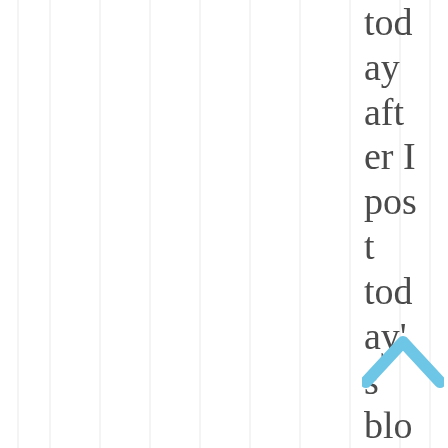today after I post today's blog, but I will read through
[Figure (illustration): Light blue upward-pointing chevron/caret icon]